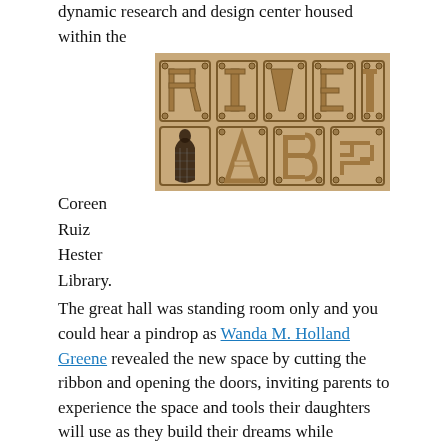dynamic research and design center housed within the
Coreen Ruiz Hester Library.
[Figure (photo): Wooden letter tiles spelling 'RIVET LAB' with screws at corners, silhouette of a person in one of the letter cutouts against a plaid fabric background]
The great hall was standing room only and you could hear a pindrop as Wanda M. Holland Greene revealed the new space by cutting the ribbon and opening the doors, inviting parents to experience the space and tools their daughters will use as they build their dreams while bettering our world.
The physical shift in space marks a larger pedagogical shift that has happened at Hamlin.  We are no longer coming to school to “get information” instead girls come to Hamlin to learn how they can use information to meet the challenges of
[Figure (photo): Interior of a historic library with dark wood paneling, ornate ceiling with hanging lights, and windows with blue light]
their time.